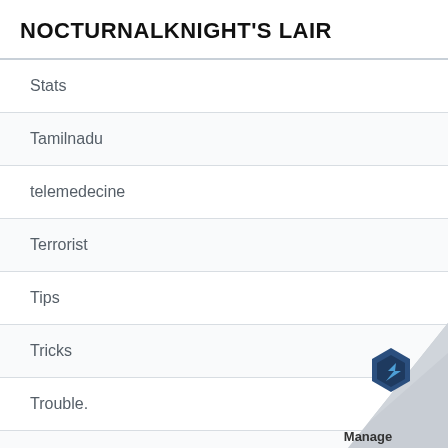NOCTURNALKNIGHT'S LAIR
Stats
Tamilnadu
telemedecine
Terrorist
Tips
Tricks
Trouble.
Tunguska Incident
Tutorial
Twitter
[Figure (logo): Manage engine logo with blue hexagonal icon and 'Manage' text in bottom right corner page curl decoration]